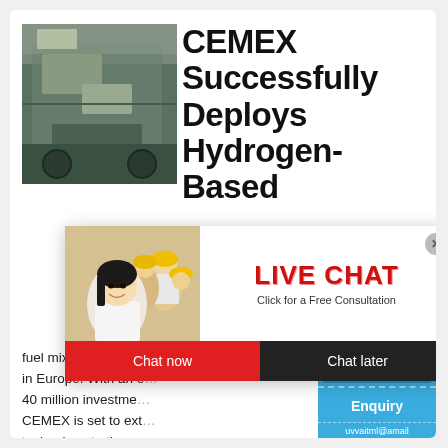[Figure (photo): Industrial crushing/mining machine in outdoor setting]
CEMEX Successfully Deploys Hydrogen-Based
fuel mix in all of its operations in Europe. With an estimated 40 million investment, CEMEX is set to extend the technology to the rest of its operations around t...
[Figure (photo): Live chat overlay with construction workers in yellow hard hats, woman in foreground smiling]
[Figure (photo): Right panel with crusher machine image and chat/enquiry buttons on blue background]